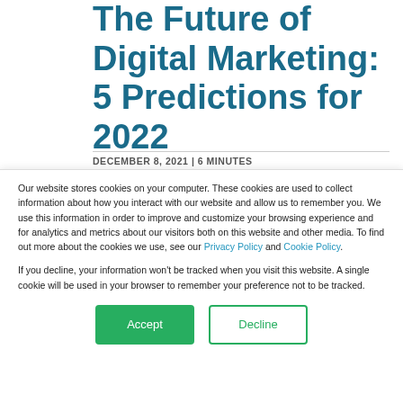The Future of Digital Marketing: 5 Predictions for 2022
DECEMBER 8, 2021 | 6 MINUTES
Our website stores cookies on your computer. These cookies are used to collect information about how you interact with our website and allow us to remember you. We use this information in order to improve and customize your browsing experience and for analytics and metrics about our visitors both on this website and other media. To find out more about the cookies we use, see our Privacy Policy and Cookie Policy.
If you decline, your information won’t be tracked when you visit this website. A single cookie will be used in your browser to remember your preference not to be tracked.
Accept
Decline